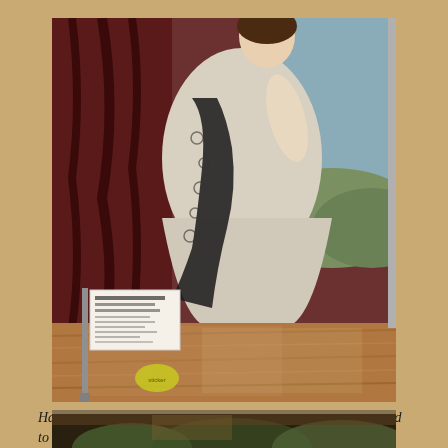[Figure (photo): Photograph of a large painted portrait of Harriet Canning, Countess of Clanricarde, shown in a gallery or museum setting. The painting depicts a woman in a white and black lace dress. A small label card is visible on a stand in front of the painting. The lower portion shows a wooden surface or table.]
Harriet Canning, Countess of Clanricarde (1804-1876), married to Ulick John De Burgh, 14th Earl and 1st Marquess of Clanricarde (1802-1874).
[Figure (photo): Partial view of another painting or artwork visible at the bottom of the page, showing dark tones with green and brown hues.]